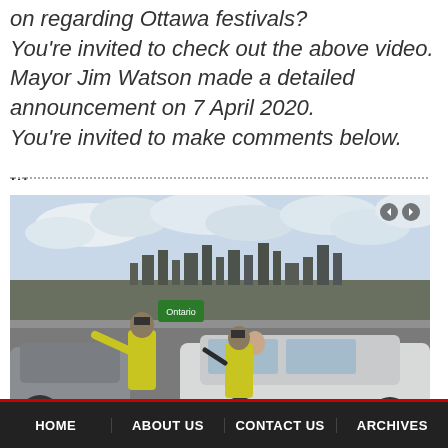on regarding Ottawa festivals? You're invited to check out the above video. Mayor Jim Watson made a detailed announcement on 7 April 2020. You're invited to make comments below.
...
[Figure (photo): Police officers in yellow high-visibility vests directing traffic or checking vehicles at what appears to be a checkpoint near a bridge. Ottawa skyline visible in the background with an Ontario sign. A white Toyota sedan is stopped and a person is leaning out the window.]
HOME   ABOUT US   CONTACT US   ARCHIVES